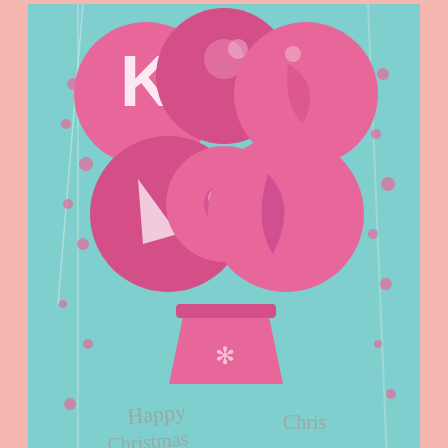[Figure (photo): A handmade Christmas card with a light blue background featuring pink floral patterns and trees. Six large pink decorative circles/baubles are arranged like Christmas tree ornaments at the top, with a pink pot/stand at the bottom. Text reads 'Happy Christmas' in silver/grey lettering.]
Linda C made this 3D tree card
[Figure (photo): A handmade 3D Christmas tree card with a white background covered in grey polka dots. A large red circle is in the center with three 3D Christmas trees standing up — the tallest in the middle with gold glitter, flanked by two smaller green trees. A red banner/ribbon is at the bottom.]